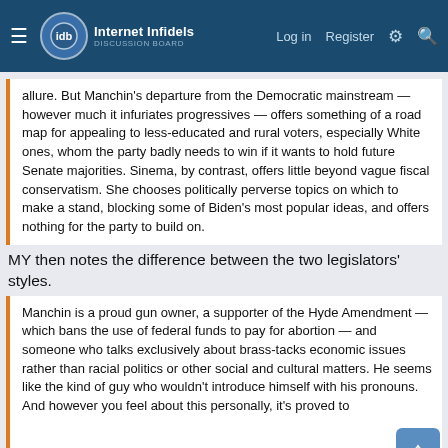Internet Infidels — Log in Register
allure. But Manchin's departure from the Democratic mainstream — however much it infuriates progressives — offers something of a road map for appealing to less-educated and rural voters, especially White ones, whom the party badly needs to win if it wants to hold future Senate majorities. Sinema, by contrast, offers little beyond vague fiscal conservatism. She chooses politically perverse topics on which to make a stand, blocking some of Biden's most popular ideas, and offers nothing for the party to build on.
MY then notes the difference between the two legislators' styles.
Manchin is a proud gun owner, a supporter of the Hyde Amendment — which bans the use of federal funds to pay for abortion — and someone who talks exclusively about brass-tacks economic issues rather than racial politics or other social and cultural matters. He seems like the kind of guy who wouldn't introduce himself with his pronouns. And however you feel about this personally, it's proved to
This site uses cookies to help personalise content, tailor your experience and to keep you logged in if you register.
By continuing to use this site, you are consenting to our use of cookies.